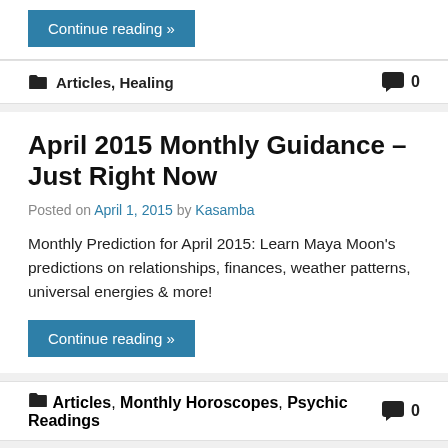Continue reading »
Articles, Healing  0
April 2015 Monthly Guidance – Just Right Now
Posted on April 1, 2015 by Kasamba
Monthly Prediction for April 2015: Learn Maya Moon's predictions on relationships, finances, weather patterns, universal energies & more!
Continue reading »
Articles, Monthly Horoscopes, Psychic Readings  0